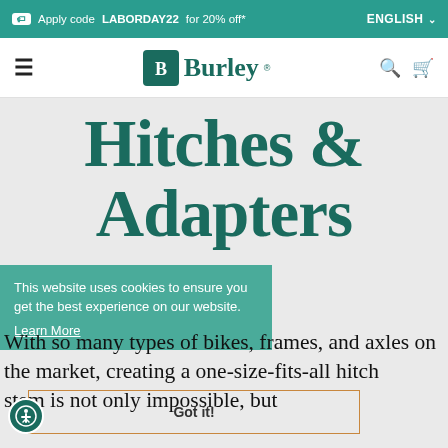Apply code LABORDAY22 for 20% off* | ENGLISH
[Figure (logo): Burley brand logo with stylized B icon and wordmark 'Burley' in teal serif font]
Hitches & Adapters
This website uses cookies to ensure you get the best experience on our website. Learn More
With so many types of bikes, frames, and axles on the market, creating a one-size-fits-all hitch system is not only impossible, but